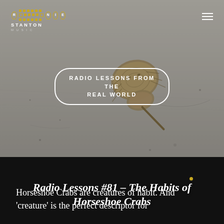[Figure (photo): Background photo of a horseshoe crab on sandy beach, gray-toned]
RONNIE STANTON MUSIC logo with hamburger menu icon
RADIO LESSONS FROM THE REAL WORLD
Radio Lessons #81 – The Habits of Horseshoe Crabs
Horseshoe Crabs are creatures of habit. And 'creature' is the perfect descriptor for